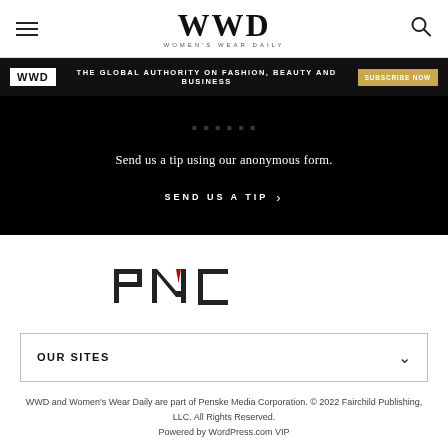WWD WOMEN'S WEAR DAILY
[Figure (infographic): WWD banner: black background with WWD logo in white box, text 'THE GLOBAL AUTHORITY ON FASHION, BEAUTY AND BUSINESS', and gold 'SUBSCRIBE NOW' button]
Send us a tip using our anonymous form.
SEND US A TIP >
[Figure (logo): PMC (Penske Media Corporation) logo in dark charcoal with red accent on the M]
OUR SITES
WWD and Women's Wear Daily are part of Penske Media Corporation. © 2022 Fairchild Publishing, LLC. All Rights Reserved. Powered by WordPress.com VIP